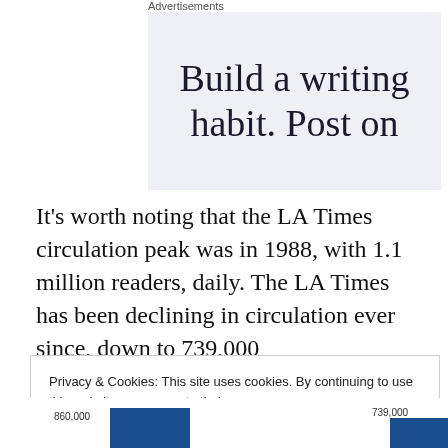Advertisements
[Figure (screenshot): Advertisement banner with text 'Build a writing habit. Post on' on a light blue-grey background]
It's worth noting that the LA Times circulation peak was in 1988, with 1.1 million readers, daily. The LA Times has been declining in circulation ever since, down to 739,000
Privacy & Cookies: This site uses cookies. By continuing to use this website, you agree to their use.
To find out more, including how to control cookies, see here: Cookie Policy
[Figure (bar-chart): Partial bar chart showing values 860,000 and 739,000 at the bottom of the page]